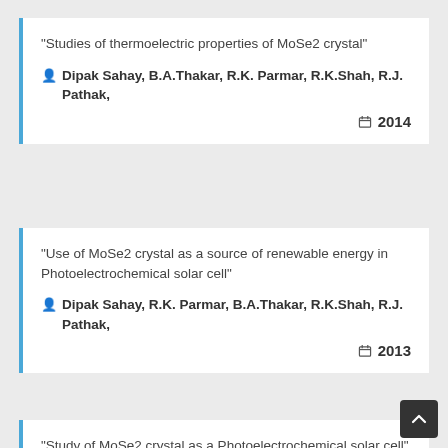"Studies of thermoelectric properties of MoSe2 crystal"
Dipak Sahay, B.A.Thakar, R.K. Parmar, R.K.Shah, R.J. Pathak,
2014
"Use of MoSe2 crystal as a source of renewable energy in Photoelectrochemical solar cell"
Dipak Sahay, R.K. Parmar, B.A.Thakar, R.K.Shah, R.J. Pathak,
2013
"Study of MoSe2 crystal as a Photoelectrochemical solar cell"